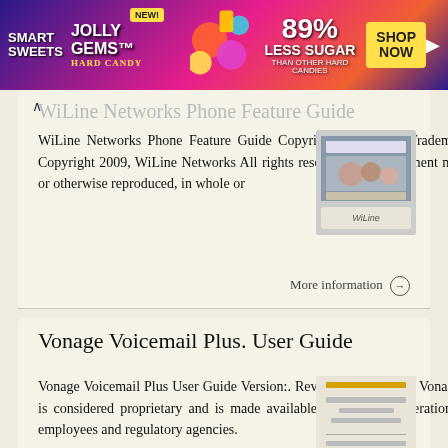[Figure (other): Advertisement banner for Smart Sweets Jolly Gems Hard Candy — NEW! 89% Less Sugar than other hard candies. SHOP NOW button.]
WiLine Networks Phone Feature Guide
WiLine Networks Phone Feature Guide Copyright Disclaimer Trademarks and patents Copyright 2009, WiLine Networks All rights reserved. This document may not be copied or otherwise reproduced, in whole or
[Figure (other): Thumbnail image of WiLine Networks Phone Feature Guide document cover with people photo and WiLine logo.]
More information →
Vonage Voicemail Plus. User Guide
Vonage Voicemail Plus User Guide Version:. Revised 08 DEC 006 Vonage documentation is considered proprietary and is made available for business operations and review by employees and regulatory agencies.
[Figure (other): Thumbnail image of Vonage Voicemail Plus User Guide document cover with text lines.]
More information →